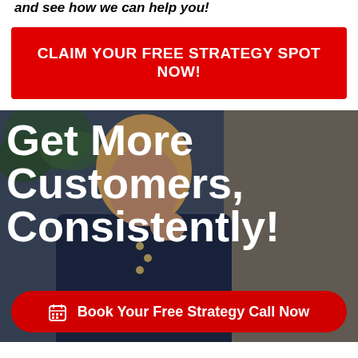and see how we can help you!
[Figure (other): Red call-to-action button with white bold uppercase text: CLAIM YOUR FREE STRATEGY SPOT NOW!]
[Figure (photo): Woman on phone with plant in background, overlaid with large bold white text: Get More Customers, Consistently! and a red Book Your Free Strategy Call Now button at the bottom.]